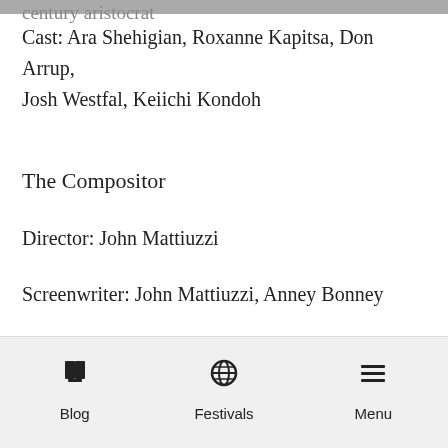century aristocrat
Cast: Ara Shehigian, Roxanne Kapitsa, Don Arrup, Josh Westfal, Keiichi Kondoh
The Compositor
Director: John Mattiuzzi
Screenwriter: John Mattiuzzi, Anney Bonney
(USA) World Premiere
Blog   Festivals   Menu